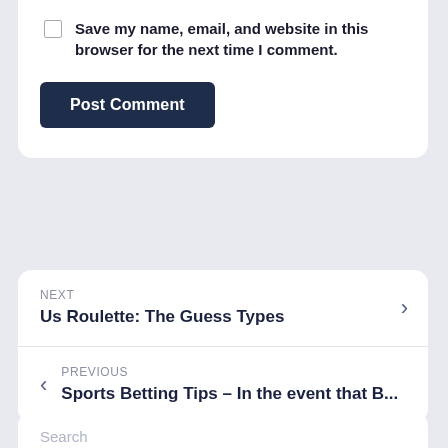Save my name, email, and website in this browser for the next time I comment.
Post Comment
NEXT
Us Roulette: The Guess Types
PREVIOUS
Sports Betting Tips – In the event that B...
Search